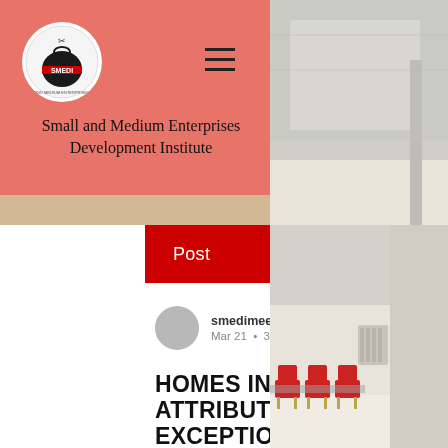[Figure (logo): SMEDI circular logo with black and white design, red ribbon, on coral/salmon background]
Small and Medium Enterprises Development Institute
[Figure (photo): Interior photo of a meeting room with chairs on the right side of the page]
Post
smedimeetings  Mar 21 · 3 min
HOMES INDUSTRIES ATTRIBUTES ITS EXCEPTIONAL